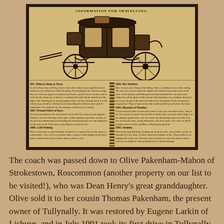[Figure (photo): A framed antique printed document with an illustration of a horse-drawn coach carriage at the top, header reading 'INFORMATION FOR TRAVELLING', and below the carriage illustration are two columns of small printed text with a decorative divider between them. The document appears aged and yellowed. It is set against a beige/tan wall background.]
The coach was passed down to Olive Pakenham-Mahon of Strokestown, Roscommon (another property on our list to be visited!), who was Dean Henry's great granddaughter. Olive sold it to her cousin Thomas Pakenham, the present owner of Tullynally. It was restored by Eugene Larkin of Lisburn, and in July 1991 took its first drive in Tullynally for over a hundred years. Family legend has it that the coach would sometimes